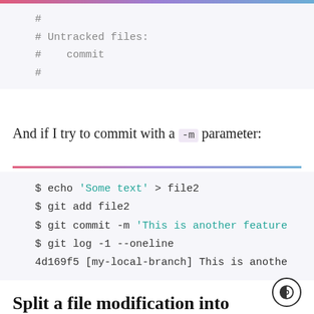#
# Untracked files:
#    commit
#
And if I try to commit with a -m parameter:
$ echo 'Some text' > file2
$ git add file2
$ git commit -m 'This is another feature
$ git log -1 --oneline
4d169f5 [my-local-branch] This is anothe
Split a file modification into